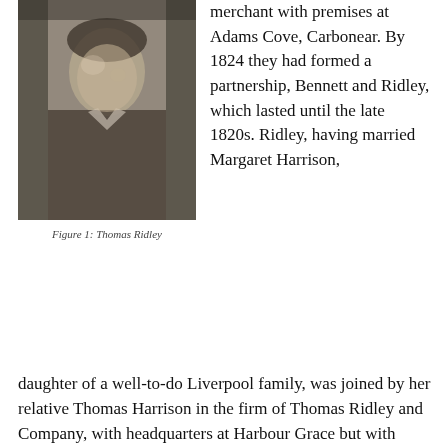[Figure (photo): Black and white portrait photograph of Thomas Ridley, showing a man in formal attire, grainy and aged.]
Figure 1: Thomas Ridley
merchant with premises at Adams Cove, Carbonear. By 1824 they had formed a partnership, Bennett and Ridley, which lasted until the late 1820s. Ridley, having married Margaret Harrison, daughter of a well-to-do Liverpool family, was joined by her relative Thomas Harrison in the firm of Thomas Ridley and Company, with headquarters at Harbour Grace but with stores as well at Carbonear and Western Bay. In spite of the fire of 1832, which destroyed much of Harbour Grace, Ridley built up a flourishing business. In the late 1830s Ridley established a partnership with